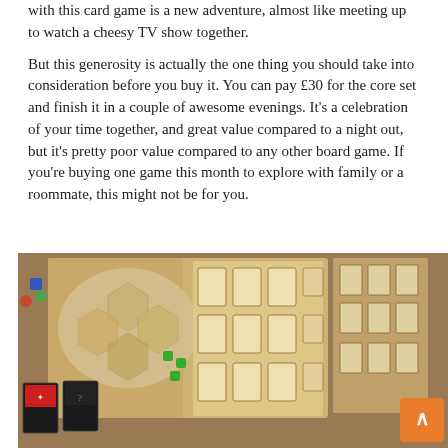...with this card game is a new adventure, almost like meeting up to watch a cheesy TV show together.
But this generosity is actually the one thing you should take into consideration before you buy it. You can pay £30 for the core set and finish it in a couple of awesome evenings. It's a celebration of your time together, and great value compared to a night out, but it's pretty poor value compared to any other board game. If you're buying one game this month to explore with family or a roommate, this might not be for you.
[Figure (photo): Overhead view of a board game laid out on a wooden table, with cards, dice, and game pieces arranged around a central game board featuring hexagonal map areas and various card slots.]